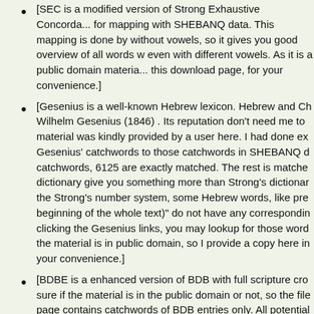[SEC is a modified version of Strong Exhaustive Concordance for mapping with SHEBANQ data. This mapping is done by without vowels, so it gives you good overview of all words even with different vowels. As it is a public domain material, this download page, for your convenience.]
[Gesenius is a well-known Hebrew lexicon. Hebrew and Ch Wilhelm Gesenius (1846) . Its reputation don't need me to material was kindly provided by a user here. I had done ex Gesenius' catchwords to those catchwords in SHEBANQ d catchwords, 6125 are exactly matched. The rest is matche dictionary give you something more than Strong's dictionar the Strong's number system, some Hebrew words, like pre beginning of the whole text)" do not have any correspondin clicking the Gesenius links, you may lookup for those word the material is in public domain, so I provide a copy here in your convenience.]
[BDBE is a enhanced version of BDB with full scripture cro sure if the material is in the public domain or not, so the file page contains catchwords of BDB entries only. All potential